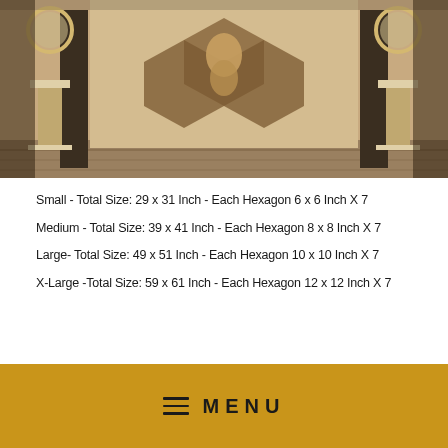[Figure (photo): Interior room photo showing a luxury space with hexagonal wall art panels featuring a figure, flanked by tall decorative stands with round mirrors, marble flooring]
Small - Total Size: 29 x 31 Inch - Each Hexagon 6 x 6 Inch X 7
Medium - Total Size: 39 x 41 Inch - Each Hexagon 8 x 8 Inch X 7
Large- Total Size: 49 x 51 Inch - Each Hexagon 10 x 10 Inch X 7
X-Large -Total Size: 59 x 61 Inch - Each Hexagon 12 x 12 Inch X 7
MENU